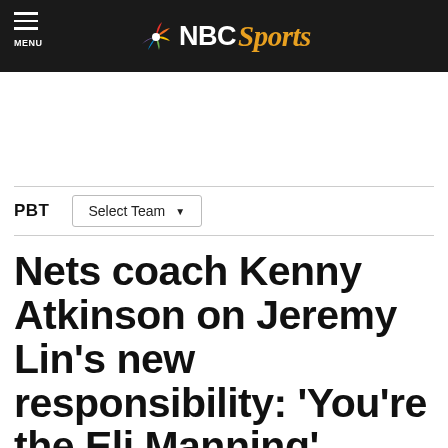NBC Sports
PBT   Select Team
Nets coach Kenny Atkinson on Jeremy Lin's new responsibility: 'You're the Eli Manning'